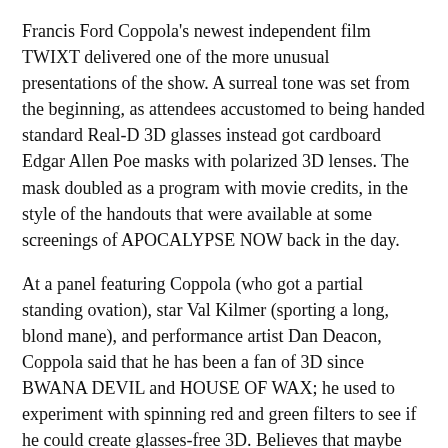Francis Ford Coppola's newest independent film TWIXT delivered one of the more unusual presentations of the show. A surreal tone was set from the beginning, as attendees accustomed to being handed standard Real-D 3D glasses instead got cardboard Edgar Allen Poe masks with polarized 3D lenses. The mask doubled as a program with movie credits, in the style of the handouts that were available at some screenings of APOCALYPSE NOW back in the day.
At a panel featuring Coppola (who got a partial standing ovation), star Val Kilmer (sporting a long, blond mane), and performance artist Dan Deacon, Coppola said that he has been a fan of 3D since BWANA DEVIL and HOUSE OF WAX; he used to experiment with spinning red and green filters to see if he could create glasses-free 3D. Believes that maybe movies should have only some sequences in 3D, so you can take the glasses (which he dislikes) off from time to time. He believes cinema is still only in its infancy, and more innovations than 3D will come along.
I once saw a performance by Val Kilmer who...